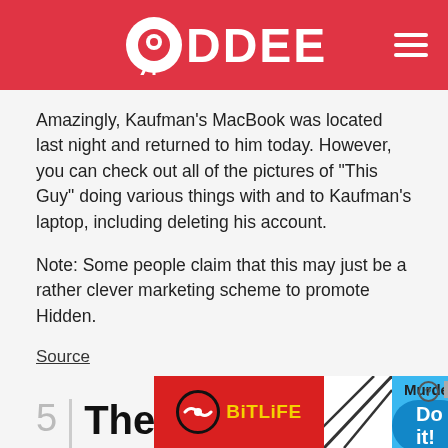ODDEE
Amazingly, Kaufman's MacBook was located last night and returned to him today. However, you can check out all of the pictures of "This Guy" doing various things with and to Kaufman's laptop, including deleting his account.
Note: Some people claim that this may just be a rather clever marketing scheme to promote Hidden.
Source
5 | The Walmart Shoplifter Who was Ordered to Wear a sign stati...
[Figure (screenshot): BitLife advertisement banner with red background on left showing BitLife logo, white center with diagonal slash lines, and blue right panel showing 'Murder Do it!' text with help and close icons]